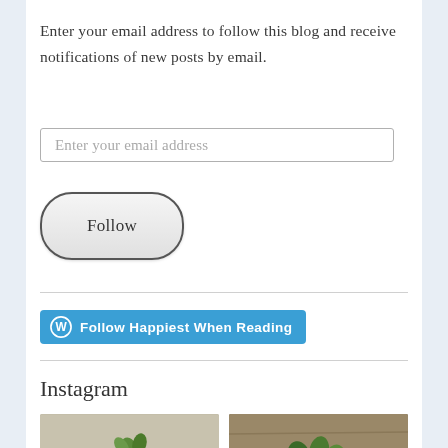Enter your email address to follow this blog and receive notifications of new posts by email.
[Figure (screenshot): Email input field with placeholder text 'Enter your email address']
[Figure (screenshot): Pill-shaped Follow button with grey gradient background]
[Figure (screenshot): Blue WordPress Follow button with WP icon and text 'Follow Happiest When Reading']
Instagram
[Figure (photo): Two Instagram photo thumbnails: stones/pebbles with green plant, and a plant/herb image]